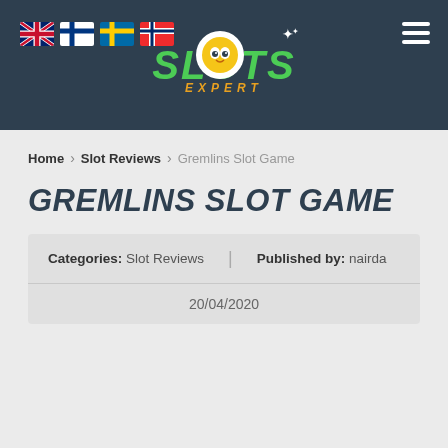[Figure (logo): Slots Expert logo with owl mascot and language flag icons (UK, Finland, Sweden, Norway) on dark teal header background with hamburger menu icon]
Home › Slot Reviews › Gremlins Slot Game
GREMLINS SLOT GAME
Categories: Slot Reviews | Published by: nairda
20/04/2020